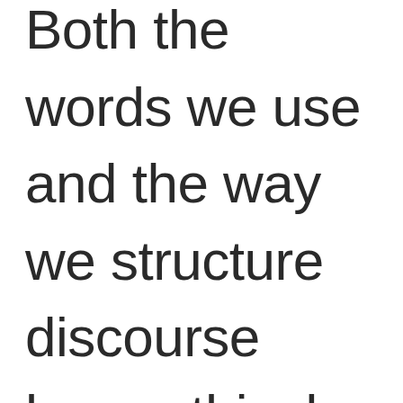Both the words we use and the way we structure discourse have ethical implications. In this piece, I hope to address both